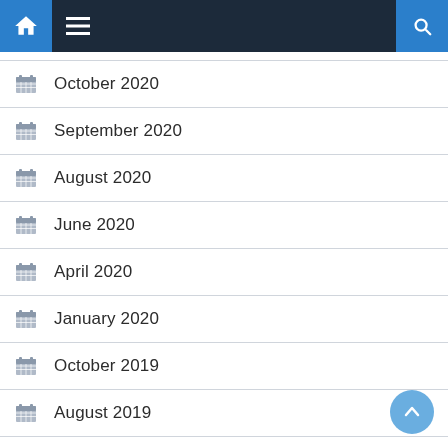Navigation bar with home, menu, and search icons
October 2020
September 2020
August 2020
June 2020
April 2020
January 2020
October 2019
August 2019
July 2019